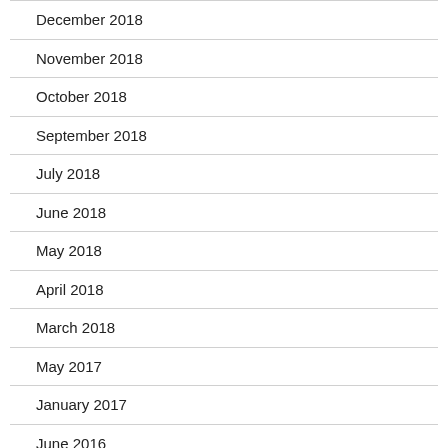December 2018
November 2018
October 2018
September 2018
July 2018
June 2018
May 2018
April 2018
March 2018
May 2017
January 2017
June 2016
April 2016